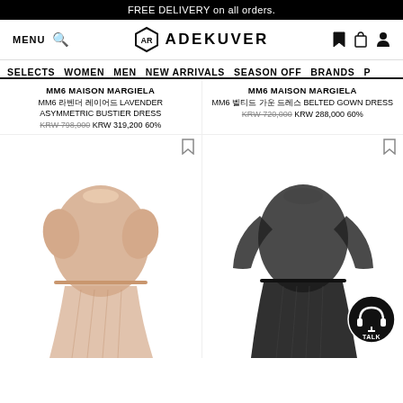FREE DELIVERY on all orders.
MENU  ADEKUVER
SELECTS  WOMEN  MEN  NEW ARRIVALS  SEASON OFF  BRANDS  P
MM6 MAISON MARGIELA
MM6 라벤더 레이어드 LAVENDER ASYMMETRIC BUSTIER DRESS
KRW 798,000 KRW 319,200  60%
MM6 MAISON MARGIELA
MM6 벨티드 가운 드레스 BELTED GOWN DRESS
KRW 720,000 KRW 288,000  60%
[Figure (photo): Beige/nude cropped mesh short-sleeve top with matching pleated skirt, shown on white background]
[Figure (photo): Black sheer mesh long-sleeve crop top with matching black pleated skirt, shown on white background]